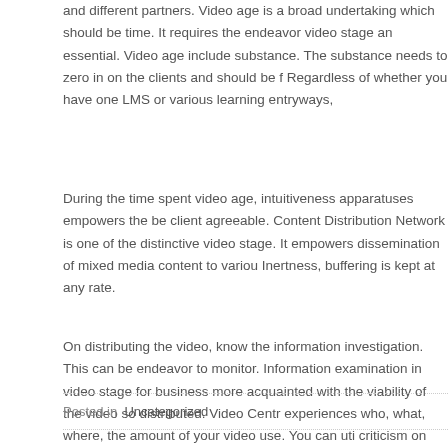and different partners. Video age is a broad undertaking which should be time. It requires the endeavor video stage an essential. Video age includes substance. The substance needs to zero in on the clients and should be f Regardless of whether you have one LMS or various learning entryways,
During the time spent video age, intuitiveness apparatuses empowers the be client agreeable. Content Distribution Network is one of the distinctive video stage. It empowers dissemination of mixed media content to variou Inertness, buffering is kept at any rate.
On distributing the video, know the information investigation. This can be endeavor to monitor. Information examination in video stage for business more acquainted with the viability of the video so distributed. Video Centr experiences who, what, where, the amount of your video use. You can uti criticism on nature of your substance, oversee consistence to an interacti endeavors to circulate the video content adequately. Video Central shows excellent dashboards or permits you to trade it into itemized reports. Rega of now have an investigation aggregator application in your association, V coordinate with it and feed every one of the essential information utilizing
Posted in Uncategorized